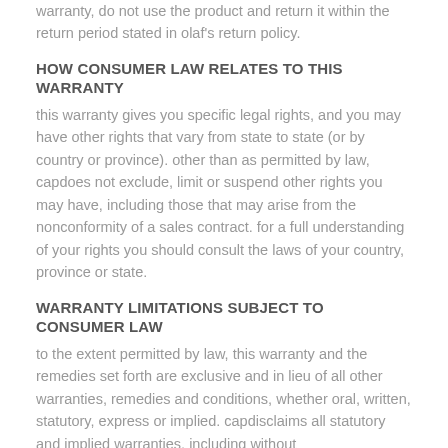warranty, do not use the product and return it within the return period stated in olaf's return policy.
HOW CONSUMER LAW RELATES TO THIS WARRANTY
this warranty gives you specific legal rights, and you may have other rights that vary from state to state (or by country or province). other than as permitted by law, capdoes not exclude, limit or suspend other rights you may have, including those that may arise from the nonconformity of a sales contract. for a full understanding of your rights you should consult the laws of your country, province or state.
WARRANTY LIMITATIONS SUBJECT TO CONSUMER LAW
to the extent permitted by law, this warranty and the remedies set forth are exclusive and in lieu of all other warranties, remedies and conditions, whether oral, written, statutory, express or implied. capdisclaims all statutory and implied warranties, including without